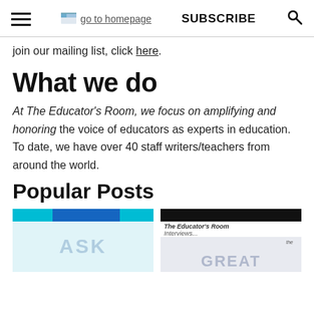go to homepage | SUBSCRIBE
join our mailing list, click here.
What we do
At The Educator's Room, we focus on amplifying and honoring the voice of educators as experts in education. To date, we have over 40 staff writers/teachers from around the world.
Popular Posts
[Figure (photo): Thumbnail image for a popular post with colored bars and ASK text]
[Figure (photo): Thumbnail image for The Educator's Room Interviews post with GREAT text]